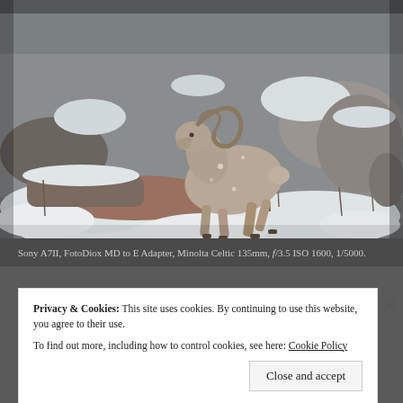[Figure (photo): A bighorn sheep ram standing on a snow-covered rocky terrain with bare shrubs and brush in the background. The animal has large curved horns and brownish-grey fur. Winter wildlife photography scene.]
Sony A7II, FotoDiox MD to E Adapter, Minolta Celtic 135mm, f/3.5 ISO 1600, 1/5000.
Privacy & Cookies: This site uses cookies. By continuing to use this website, you agree to their use. To find out more, including how to control cookies, see here: Cookie Policy